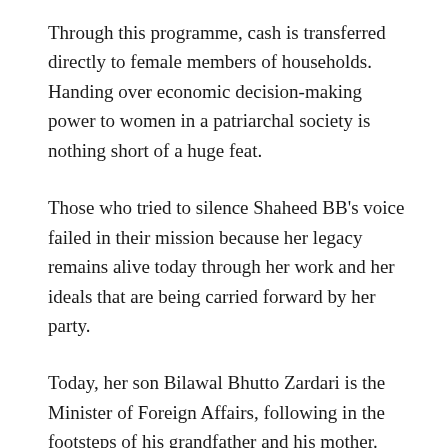Through this programme, cash is transferred directly to female members of households. Handing over economic decision-making power to women in a patriarchal society is nothing short of a huge feat.
Those who tried to silence Shaheed BB's voice failed in their mission because her legacy remains alive today through her work and her ideals that are being carried forward by her party.
Today, her son Bilawal Bhutto Zardari is the Minister of Foreign Affairs, following in the footsteps of his grandfather and his mother.
Looking down from heaven, Shaheed BB must be very proud of her son. As our country is going through a challenging time politically and economically, I cannot help but think that if Shaheed BB were still amongst us, she would have pulled us away from all these issues because of her vision and her political...